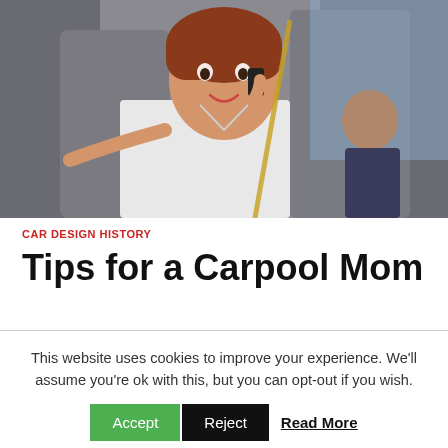[Figure (photo): Woman with red hair sitting in car driver seat, smiling, talking on mobile phone, wearing white shirt. A child is visible in the back seat.]
CAR DESIGN HISTORY
Tips for a Carpool Mom
This website uses cookies to improve your experience. We'll assume you're ok with this, but you can opt-out if you wish.
Accept  Reject  Read More